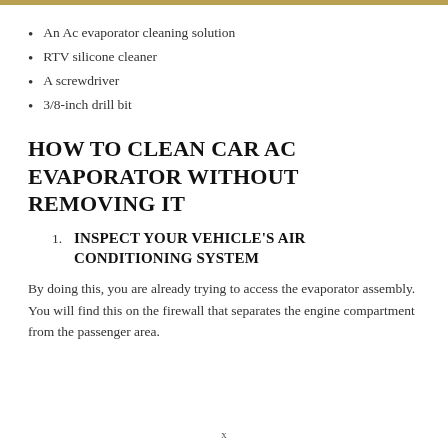An Ac evaporator cleaning solution
RTV silicone cleaner
A screwdriver
3/8-inch drill bit
HOW TO CLEAN CAR AC EVAPORATOR WITHOUT REMOVING IT
1. INSPECT YOUR VEHICLE'S AIR CONDITIONING SYSTEM
By doing this, you are already trying to access the evaporator assembly. You will find this on the firewall that separates the engine compartment from the passenger area.
x